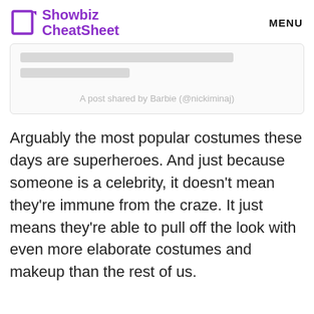Showbiz CheatSheet   MENU
[Figure (screenshot): Embedded social media post card with gray placeholder bars and caption 'A post shared by Barbie (@nickiminaj)']
A post shared by Barbie (@nickiminaj)
Arguably the most popular costumes these days are superheroes. And just because someone is a celebrity, it doesn't mean they're immune from the craze. It just means they're able to pull off the look with even more elaborate costumes and makeup than the rest of us.